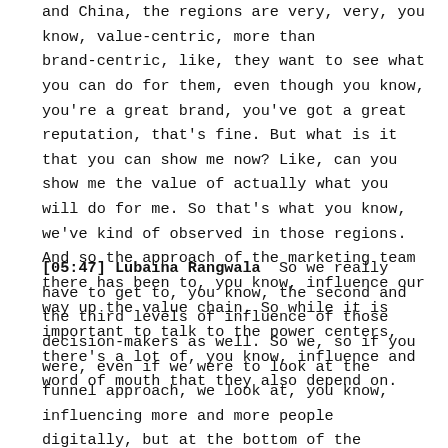and China, the regions are very, very, you know, value-centric, more than brand-centric, like, they want to see what you can do for them, even though you know, you're a great brand, you've got a great reputation, that's fine. But what is it that you can show me now? Like, can you show me the value of actually what you will do for me. So that's what you know, we've kind of observed in those regions. And so the approach of the marketing team there has been to, you know, influence our way up the value chain. So while it is important to talk to the power centers, there's a lot of, you know, influence and word of mouth that they also depend on.
[05:47] Lubaina Rangwala  So we really have to get to, you know, the second and the third levels of influence of those decision-makers as well. So we, so if you were, even if we were to look at the funnel approach, we look at, you know, influencing more and more people digitally, but at the bottom of the funnel, when we're looking at like more, you know, I guess, like conversion related actions has to be face-to-face, and it has to be physical. So that's the approach with those two markets. And I'm just being very broad over here. It's so you